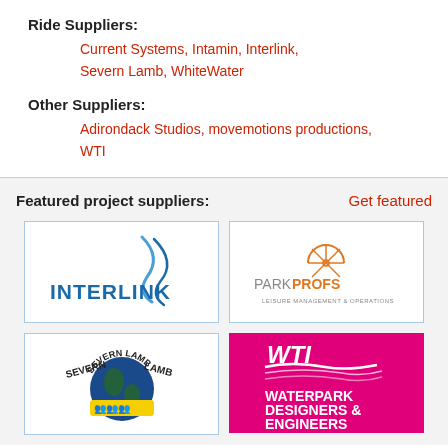Ride Suppliers:
Current Systems, Intamin, Interlink, Severn Lamb, WhiteWater
Other Suppliers:
Adirondack Studios, movemotions productions, WTI
Featured project suppliers:
Get featured
[Figure (logo): Interlink logo with blue swoosh graphic and bold blue INTERLINK text]
[Figure (logo): Park Profs Leisure Management & Operations logo with orange ferris wheel icon]
[Figure (logo): Severn Lamb logo with globe and yellow banner showing seated figures]
[Figure (logo): WTI Waterpark Designers & Engineers logo on magenta/pink background with white wave graphic]